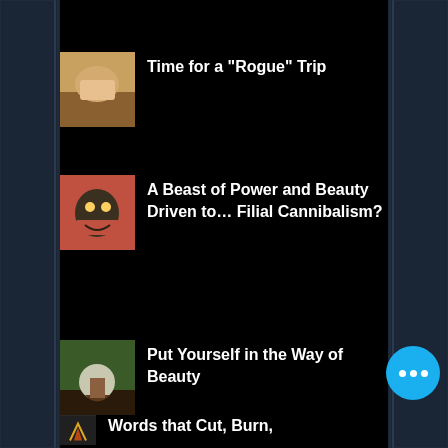Time for a "Rogue" Trip
A Beast of Power and Beauty Driven to… Filial Cannibalism?
Put Yourself in the Way of Beauty
Words that Cut, Burn,